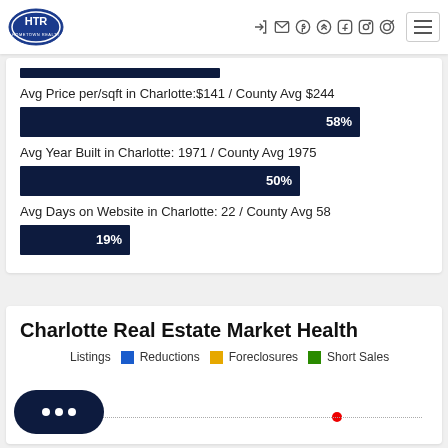HTR Hometown Realty logo and navigation icons
[Figure (infographic): Dark navy horizontal progress bar, short, representing a percentage metric]
Avg Price per/sqft in Charlotte: $141 / County Avg $244
[Figure (bar-chart): Avg Price per/sqft]
Avg Year Built in Charlotte: 1971 / County Avg 1975
[Figure (bar-chart): Avg Year Built]
Avg Days on Website in Charlotte: 22 / County Avg 58
[Figure (bar-chart): Avg Days on Website]
Charlotte Real Estate Market Health
New Listings   Reductions   Foreclosures   Short Sales